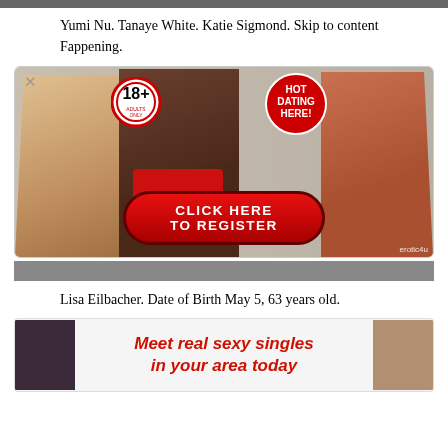[Figure (photo): Top cropped image bar, dark/blurred photo strip]
Yumi Nu. Tanaye White. Katie Sigmond. Skip to content Fappening.
[Figure (photo): Adult dating advertisement banner with three women, 18+ badge, HOT DATING HERE badge, and CLICK HERE TO REGISTER button, erotic4u watermark]
[Figure (photo): Bottom strip, blurred photo]
Lisa Eilbacher. Date of Birth May 5, 63 years old.
[Figure (photo): Adult dating ad: Meet real sexy singles in your area today, with two women on sides]